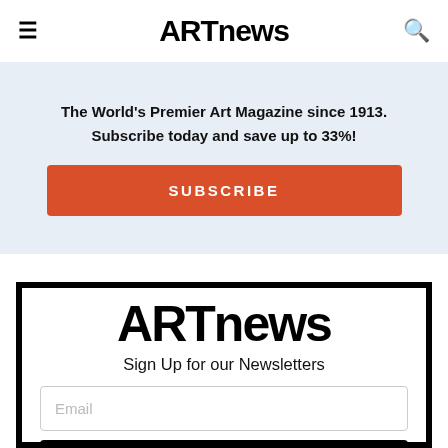ARTnews
The World's Premier Art Magazine since 1913. Subscribe today and save up to 33%!
SUBSCRIBE
ARTnews
Sign Up for our Newsletters
Email
Subscribe Today